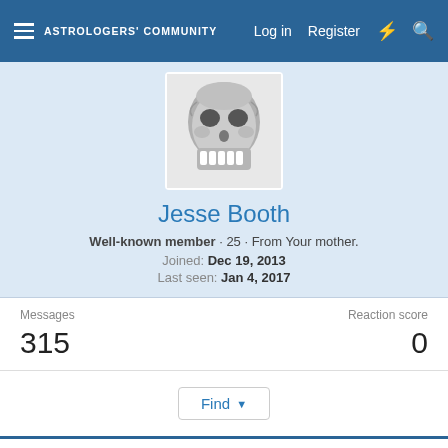ASTROLOGERS' COMMUNITY  Log in  Register
[Figure (photo): Avatar image: stylized skull illustration in grayscale]
Jesse Booth
Well-known member · 25 · From Your mother.
Joined: Dec 19, 2013
Last seen: Jan 4, 2017
Messages 315   Reaction score 0
Find ▾
This site uses cookies to help personalise content, tailor your experience and to keep you logged in if you register.
By continuing to use this site, you are consenting to our use of cookies.
✓ Accept   Learn more...